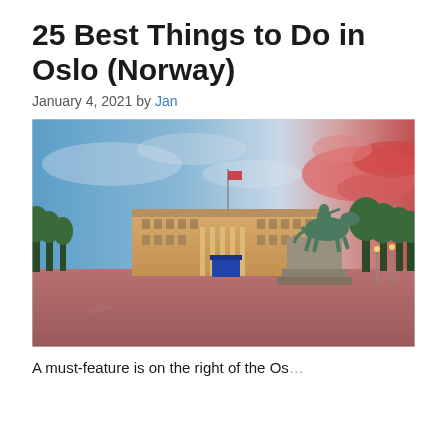25 Best Things to Do in Oslo (Norway)
January 4, 2021 by Jan
[Figure (photo): Panoramic photo of the Royal Palace in Oslo at sunset/dusk, with a dramatic sky featuring blue and pink/red clouds. A large equestrian statue on a stone pedestal is visible in the foreground right. The palace is a neoclassical building illuminated with warm light. The foreground shows a wide open plaza with a pinkish-red hue.]
A must-feature is on the right of the Os...